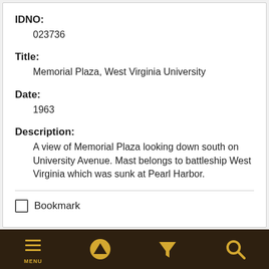IDNO: 023736
Title: Memorial Plaza, West Virginia University
Date: 1963
Description: A view of Memorial Plaza looking down south on University Avenue. Mast belongs to battleship West Virginia which was sunk at Pearl Harbor.
Bookmark
MENU | up arrow | filter | search